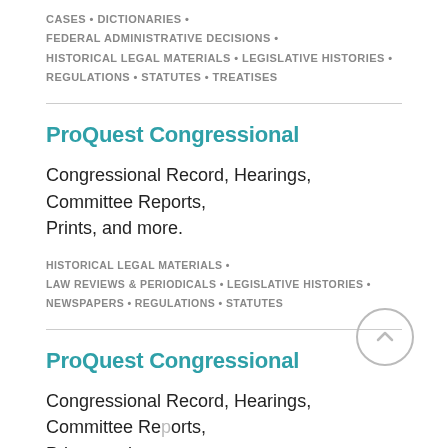CASES • DICTIONARIES • FEDERAL ADMINISTRATIVE DECISIONS • HISTORICAL LEGAL MATERIALS • LEGISLATIVE HISTORIES • REGULATIONS • STATUTES • TREATISES
ProQuest Congressional
Congressional Record, Hearings, Committee Reports, Prints, and more.
HISTORICAL LEGAL MATERIALS • LAW REVIEWS & PERIODICALS • LEGISLATIVE HISTORIES • NEWSPAPERS • REGULATIONS • STATUTES
ProQuest Congressional
Congressional Record, Hearings, Committee Reports, Prints, and more.
HISTORICAL LEGAL MATERIALS •